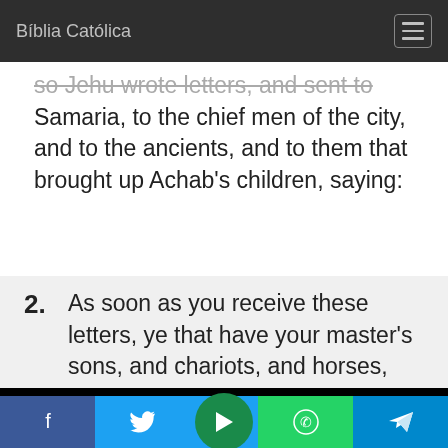Bíblia Católica
so Jehu wrote letters, and sent to Samaria, to the chief men of the city, and to the ancients, and to them that brought up Achab's children, saying:
2. As soon as you receive these letters, ye that have your master's sons, and chariots, and horses, and fenced cities, and armour,
[Figure (other): Black video player bar at bottom of content area]
Social share bar: Facebook, Twitter, Play, WhatsApp, Telegram